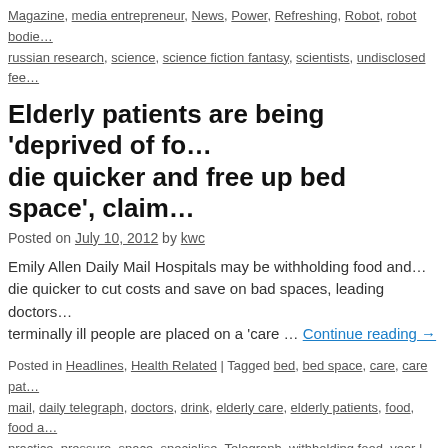Magazine, media entrepreneur, News, Power, Refreshing, Robot, robot bodies, russian research, science, science fiction fantasy, scientists, undisclosed fee
Elderly patients are being 'deprived of food to die quicker and free up bed space', claim…
Posted on July 10, 2012 by kwc
Emily Allen Daily Mail Hospitals may be withholding food and die quicker to cut costs and save on bad spaces, leading doctors terminally ill people are placed on a 'care … Continue reading →
Posted in Headlines, Health Related | Tagged bed, bed space, care, care pat… mail, daily telegraph, doctors, drink, elderly care, elderly patients, food, food a… practice, pressure, space, specialise, Telegraph, withholding food, year | Com…
The Brave New World vs 1984 debate
Posted on June 29, 2012 by kwc
Michael Cook BioEdge Aldous Huxley's Brave New World is a